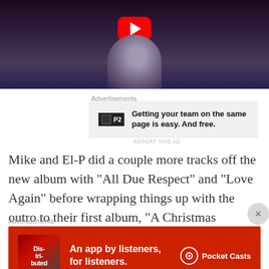[Figure (screenshot): YouTube video thumbnail showing a person performing on stage with YouTube play button overlay on dark background]
Advertisements
[Figure (screenshot): Advertisement: P2 logo with text 'Getting your team on the same page is easy. And free.']
REPORT THIS AD
Mike and El-P did a couple more tracks off the new album with “All Due Respect” and “Love Again” before wrapping things up with the outro to their first album, “A Christmas F**king Miracle”. Even though the closing
Advertisements
[Figure (screenshot): Pocket Casts advertisement: 'An app by listeners, for listeners.' with book image and Pocket Casts logo on red background]